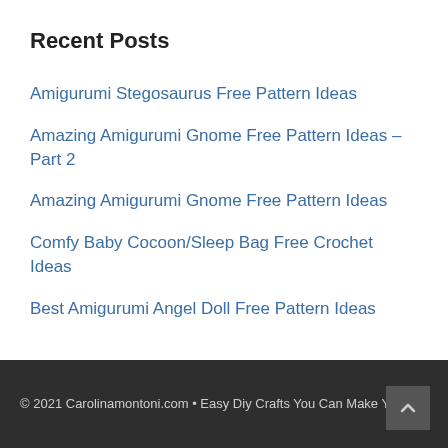Recent Posts
Amigurumi Stegosaurus Free Pattern Ideas
Amazing Amigurumi Gnome Free Pattern Ideas – Part 2
Amazing Amigurumi Gnome Free Pattern Ideas
Comfy Baby Cocoon/Sleep Bag Free Crochet Ideas
Best Amigurumi Angel Doll Free Pattern Ideas
© 2021 Carolinamontoni.com • Easy Diy Crafts You Can Make Yourself